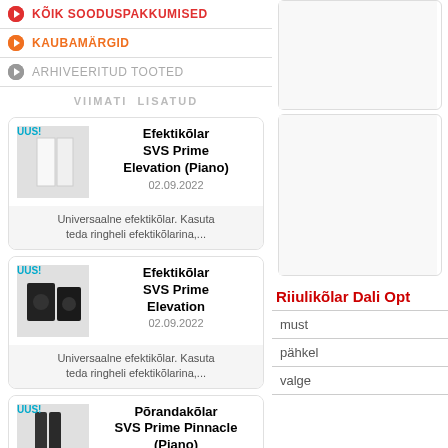KÕIK SOODUSPAKKUMISED
KAUBAMÄRGID
ARHIVEERITUD TOOTED
VIIMATI LISATUD
UUS! Efektikõlar SVS Prime Elevation (Piano) 02.09.2022 — Universaalne efektikõlar. Kasuta teda ringheli efektikõlarina,...
UUS! Efektikõlar SVS Prime Elevation 02.09.2022 — Universaalne efektikõlar. Kasuta teda ringheli efektikõlarina,...
UUS! Põrandakõlar SVS Prime Pinnacle (Piano) 02.09.2022
Riiulikõlar Dali Opt
must
pähkel
valge